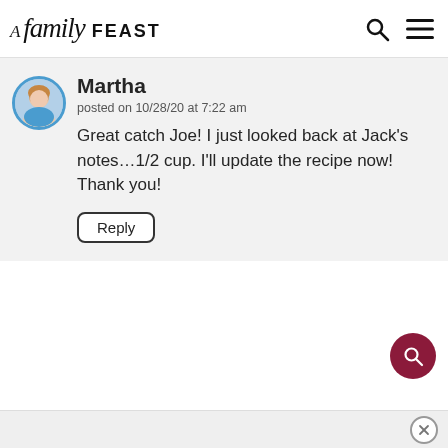A Family FEAST
Martha
posted on 10/28/20 at 7:22 am
Great catch Joe! I just looked back at Jack's notes…1/2 cup. I'll update the recipe now! Thank you!
Reply